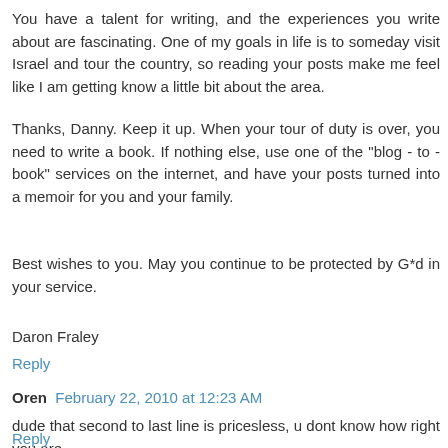You have a talent for writing, and the experiences you write about are fascinating. One of my goals in life is to someday visit Israel and tour the country, so reading your posts make me feel like I am getting know a little bit about the area.
Thanks, Danny. Keep it up. When your tour of duty is over, you need to write a book. If nothing else, use one of the "blog - to - book" services on the internet, and have your posts turned into a memoir for you and your family.
Best wishes to you. May you continue to be protected by G*d in your service.
Daron Fraley
Reply
Oren  February 22, 2010 at 12:23 AM
dude that second to last line is pricesless, u dont know how right you are
Reply